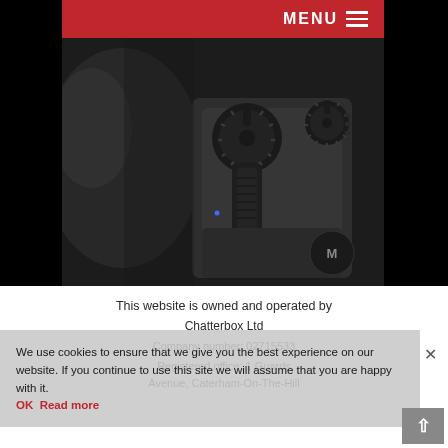[Figure (screenshot): Website screenshot showing a red menu bar at the top with 'MENU' text and hamburger icon, a dark close-up photo of Motorola two-way radio controls/knobs, followed by white content area with company information, overlaid by a cookie consent banner.]
MENU
This website is owned and operated by
Chatterbox Ltd
Company number: 02715533
Registered office: 1 Guards Avenue, Caterham-On-The-Hill
We use cookies to ensure that we give you the best experience on our website. If you continue to use this site we will assume that you are happy with it.
OK Read more